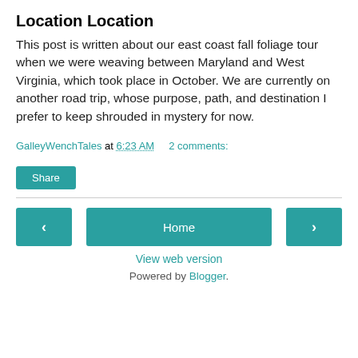Location Location
This post is written about our east coast fall foliage tour when we were weaving between Maryland and West Virginia, which took place in October. We are currently on another road trip, whose purpose, path, and destination I prefer to keep shrouded in mystery for now.
GalleyWenchTales at 6:23 AM   2 comments:
Share
‹   Home   ›
View web version
Powered by Blogger.